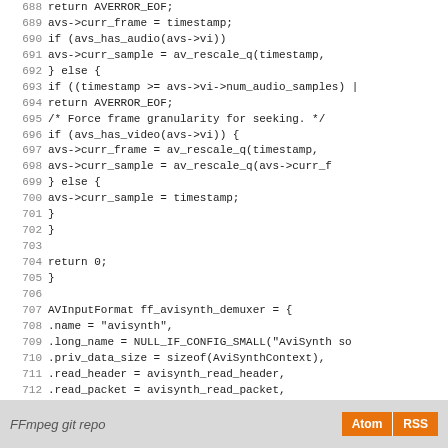[Figure (screenshot): Source code listing showing C code for AviSynth demuxer, lines 688-716, with line numbers on the left in gray and code in monospace font on white background.]
FFmpeg git repo  Atom  RSS